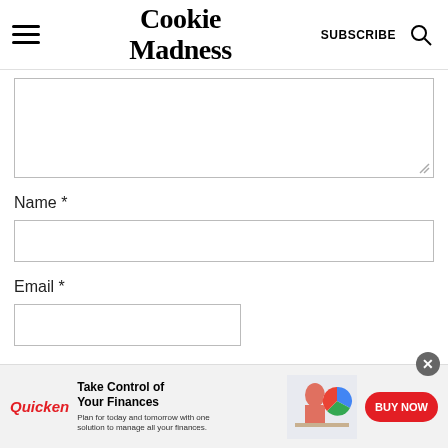Cookie Madness
[Comment text area]
Name *
[Name input field]
Email *
[Email input field]
[Figure (screenshot): Quicken advertisement banner: 'Take Control of Your Finances. Plan for today and tomorrow with one solution to manage all your finances.' with BUY NOW button and image of woman at computer with pie chart.]